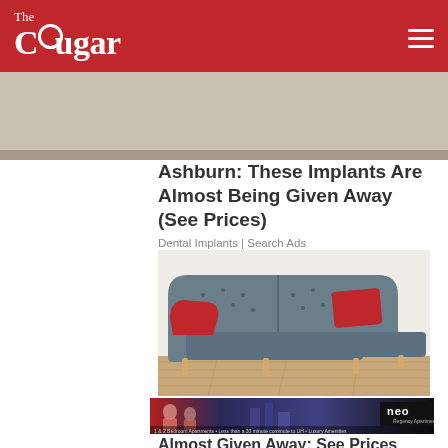The Cougar
[Figure (photo): Partial view of an image at top of page, partly cropped]
Ashburn: These Implants Are Almost Being Given Away (See Prices)
Dental Implants | Search Ads
[Figure (photo): Gray sectional sofa with red throw pillows on a light wood floor]
[Figure (photo): Banner advertisement for Neo apartments – 1 & 2 Bedroom Apartments, Less than 30 minute commute to UH, Luxury Amenities]
Almost Given Away: See Prices